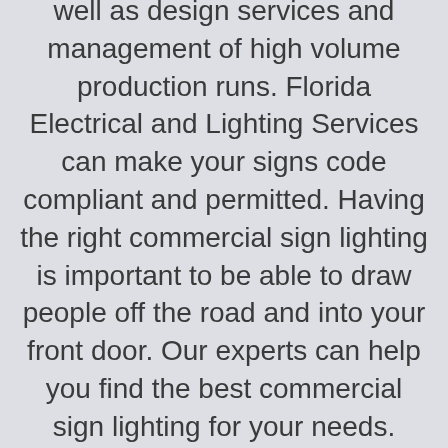well as design services and management of high volume production runs. Florida Electrical and Lighting Services can make your signs code compliant and permitted. Having the right commercial sign lighting is important to be able to draw people off the road and into your front door. Our experts can help you find the best commercial sign lighting for your needs. They'll help you make the right choice from the myriad of options available.
How do you want customers to see